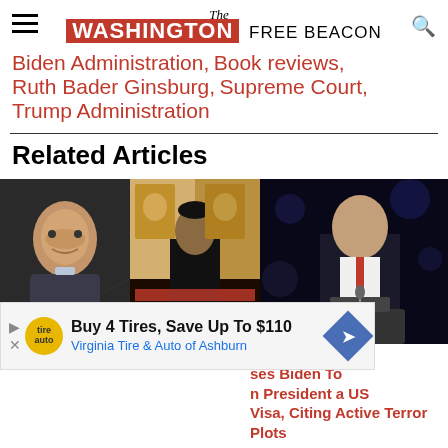The Washington Free Beacon
Biden Administration, Book reviews, Ruth Bader Ginsburg, Supreme Court, Trump Administration
Related Articles
[Figure (photo): Photo of Joe Biden on left, Iranian cleric in front of portraits on right]
[Figure (photo): Photo of Mike Pompeo speaking at podium on dark background]
Buy 4 Tires, Save Up To $110 Virginia Tire & Auto of Ashburn
ses Biden To n President a US Visa, Citing Active Terror Plots